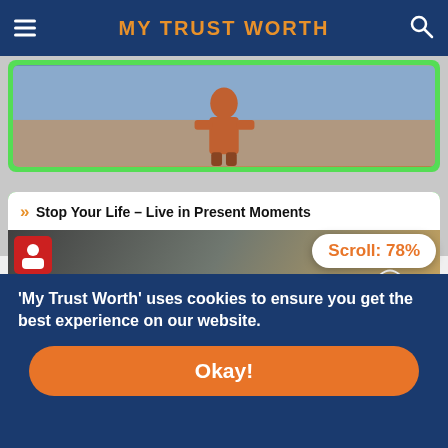MY TRUST WORTH
[Figure (screenshot): Partially visible top card with a photo of a person in red jacket]
Stop Your Life – Live in Present Moments
[Figure (photo): Motivational image with text LIVE IN THE PRESENT and silhouette of person with arms raised releasing birds]
'My Trust Worth' uses cookies to ensure you get the best experience on our website.
Okay!
Scroll: 78%